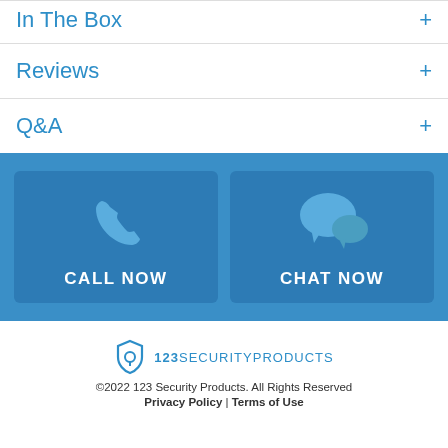In The Box +
Reviews +
Q&A +
[Figure (infographic): Blue band with two contact buttons: CALL NOW (phone icon) and CHAT NOW (chat bubbles icon)]
[Figure (logo): 123 Security Products logo with shield/lock icon]
©2022 123 Security Products. All Rights Reserved
Privacy Policy | Terms of Use